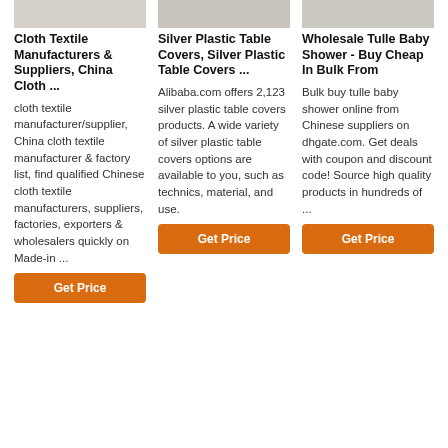[Figure (photo): Three product images partially visible at top of page]
Cloth Textile Manufacturers & Suppliers, China Cloth ...
cloth textile manufacturer/supplier, China cloth textile manufacturer & factory list, find qualified Chinese cloth textile manufacturers, suppliers, factories, exporters & wholesalers quickly on Made-in ...
Silver Plastic Table Covers, Silver Plastic Table Covers ...
Alibaba.com offers 2,123 silver plastic table covers products. A wide variety of silver plastic table covers options are available to you, such as technics, material, and use.
Wholesale Tulle Baby Shower - Buy Cheap In Bulk From
Bulk buy tulle baby shower online from Chinese suppliers on dhgate.com. Get deals with coupon and discount code! Source high quality products in hundreds of ...
Get Price
Get Price
Get Price